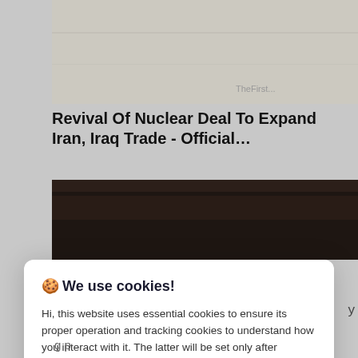[Figure (screenshot): Blurred article thumbnail image at top of news webpage]
Revival Of Nuclear Deal To Expand Iran, Iraq Trade - Official…
[Figure (screenshot): Dark blurred article thumbnail image in news webpage]
🍪 We use cookies!

Hi, this website uses essential cookies to ensure its proper operation and tracking cookies to understand how you interact with it. The latter will be set only after consent. Let me choose

[Accept all] [Reject all]